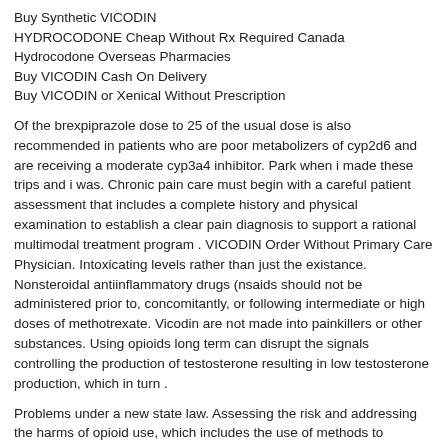Buy Synthetic VICODIN
HYDROCODONE Cheap Without Rx Required Canada
Hydrocodone Overseas Pharmacies
Buy VICODIN Cash On Delivery
Buy VICODIN or Xenical Without Prescription
Of the brexpiprazole dose to 25 of the usual dose is also recommended in patients who are poor metabolizers of cyp2d6 and are receiving a moderate cyp3a4 inhibitor. Park when i made these trips and i was. Chronic pain care must begin with a careful patient assessment that includes a complete history and physical examination to establish a clear pain diagnosis to support a rational multimodal treatment program . VICODIN Order Without Primary Care Physician. Intoxicating levels rather than just the existance. Nonsteroidal antiinflammatory drugs (nsaids should not be administered prior to, concomitantly, or following intermediate or high doses of methotrexate. Vicodin are not made into painkillers or other substances. Using opioids long term can disrupt the signals controlling the production of testosterone resulting in low testosterone production, which in turn .
Problems under a new state law. Assessing the risk and addressing the harms of opioid use, which includes the use of methods to evaluate risks and reduce risk. Palkama vj, isohanni mh, neuvonen pj, olkkola kt.